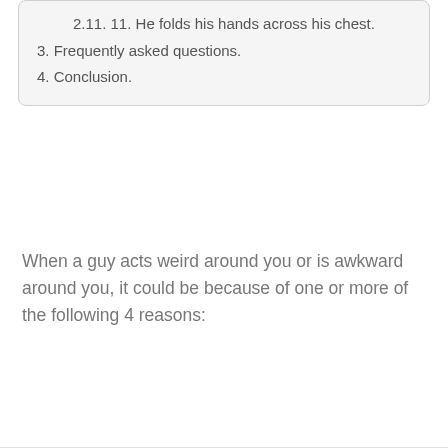2.11. 11. He folds his hands across his chest.
3. Frequently asked questions.
4. Conclusion.
When a guy acts weird around you or is awkward around you, it could be because of one or more of the following 4 reasons: